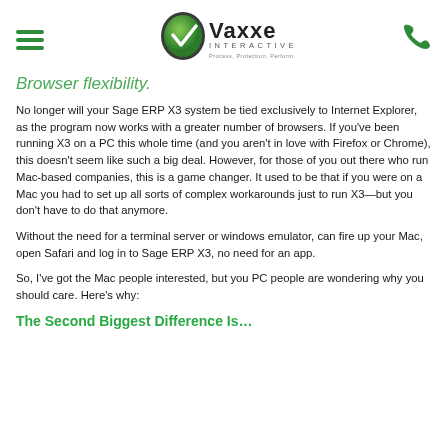[Vaxxe Interactive logo — Process, Protection, Performance]
Browser flexibility.
No longer will your Sage ERP X3 system be tied exclusively to Internet Explorer, as the program now works with a greater number of browsers. If you've been running X3 on a PC this whole time (and you aren't in love with Firefox or Chrome), this doesn't seem like such a big deal. However, for those of you out there who run Mac-based companies, this is a game changer. It used to be that if you were on a Mac you had to set up all sorts of complex workarounds just to run X3—but you don't have to do that anymore.
Without the need for a terminal server or windows emulator, can fire up your Mac, open Safari and log in to Sage ERP X3, no need for an app.
So, I've got the Mac people interested, but you PC people are wondering why you should care. Here's why:
The Second Biggest Difference Is…